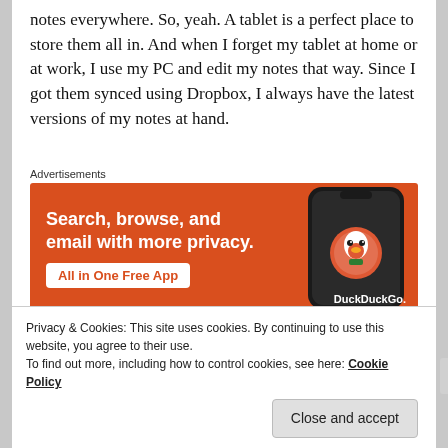notes everywhere. So, yeah. A tablet is a perfect place to store them all in. And when I forget my tablet at home or at work, I use my PC and edit my notes that way. Since I got them synced using Dropbox, I always have the latest versions of my notes at hand.
Advertisements
[Figure (screenshot): DuckDuckGo advertisement banner with orange background showing 'Search, browse, and email with more privacy. All in One Free App' with a phone image and DuckDuckGo logo.]
Also, it's really easy to access the internet without having
Privacy & Cookies: This site uses cookies. By continuing to use this website, you agree to their use.
To find out more, including how to control cookies, see here: Cookie Policy
Close and accept